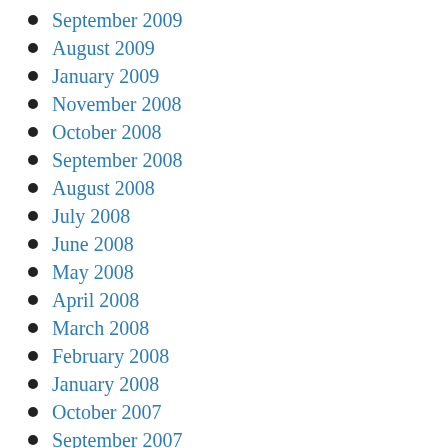September 2009
August 2009
January 2009
November 2008
October 2008
September 2008
August 2008
July 2008
June 2008
May 2008
April 2008
March 2008
February 2008
January 2008
October 2007
September 2007